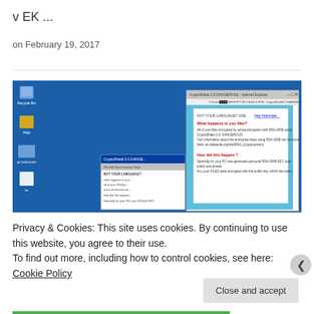v EK ...
on February 19, 2017
[Figure (screenshot): Screenshot of a Windows desktop showing a ransomware message (CryptoShield 2.0 DANGEROUS) in a browser window with a cyan background, displaying encryption warning text in red and black.]
Privacy & Cookies: This site uses cookies. By continuing to use this website, you agree to their use.
To find out more, including how to control cookies, see here: Cookie Policy
Close and accept